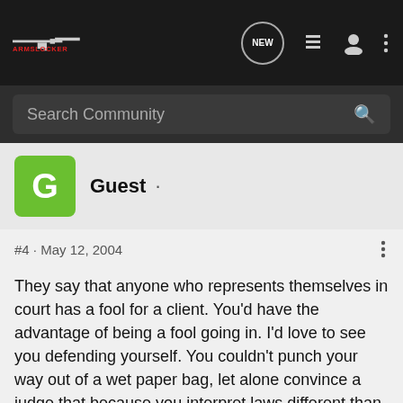[Figure (screenshot): ArmsLocker website navigation bar with logo, NEW chat icon, list icon, user icon, and dots menu]
Search Community
Guest ·
#4 · May 12, 2004
They say that anyone who represents themselves in court has a fool for a client. You'd have the advantage of being a fool going in. I'd love to see you defending yourself. You couldn't punch your way out of a wet paper bag, let alone convince a judge that because you interpret laws different than him, that you are right. They also say that ignorance of the law is no excuse, in your case, ignorance would be your only excuse. A little learning is a dangerous thing, drink deep or taste not the pieirian ... ain, and drinking
[Figure (infographic): Advertisement banner reading '3 SIBLINGS. NO RIVALRY.']